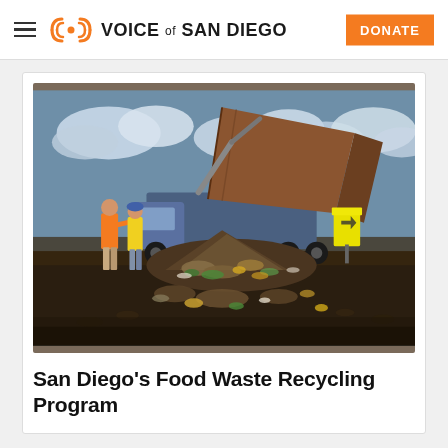Voice of San Diego
[Figure (photo): A large dump truck tilting its container to unload a pile of food waste compost material onto dark soil at a composting facility. Two workers in high-visibility vests stand nearby observing. Cloudy sky in background.]
San Diego's Food Waste Recycling Program